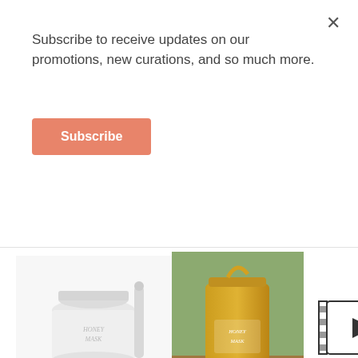Subscribe to receive updates on our promotions, new curations, and so much more.
Subscribe
[Figure (photo): White jar of Honey Mask product with lid beside it]
[Figure (photo): Glass jar of honey-colored Honey Mask product on wooden surface with green background]
[Figure (other): Video play button placeholder icon]
[Figure (other): Green notification bell icon with red badge showing number 1]
HOME / COLLECTIONS / PAYDAY SALE
I'M FROM
I'm from Honey Mask